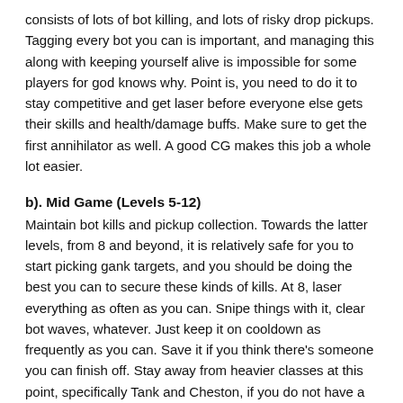consists of lots of bot killing, and lots of risky drop pickups. Tagging every bot you can is important, and managing this along with keeping yourself alive is impossible for some players for god knows why. Point is, you need to do it to stay competitive and get laser before everyone else gets their skills and health/damage buffs. Make sure to get the first annihilator as well. A good CG makes this job a whole lot easier.
b). Mid Game (Levels 5-12)
Maintain bot kills and pickup collection. Towards the latter levels, from 8 and beyond, it is relatively safe for you to start picking gank targets, and you should be doing the best you can to secure these kinds of kills. At 8, laser everything as often as you can. Snipe things with it, clear bot waves, whatever. Just keep it on cooldown as frequently as you can. Save it if you think there’s someone you can finish off. Stay away from heavier classes at this point, specifically Tank and Cheston, if you do not have a teammate around to help.
c). Late Game (Levels 12-15)
At this point, you can lay off the bot kills slightly. If you were doing what I told you to do, you may have a level advantage anywhere from 1 to 2